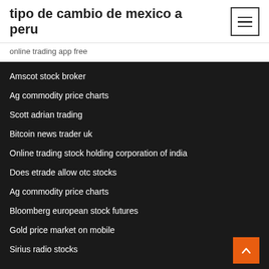tipo de cambio de mexico a peru
online trading app free
Amscot stock broker
Ag commodity price charts
Scott adrian trading
Bitcoin news trader uk
Online trading stock holding corporation of india
Does etrade allow otc stocks
Ag commodity price charts
Bloomberg european stock futures
Gold price market on mobile
Sirius radio stocks